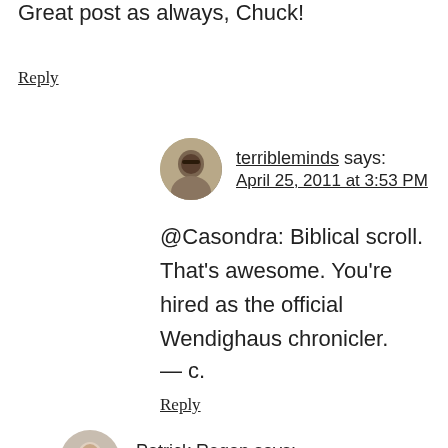Great post as always, Chuck!
Reply
terribleminds says:
April 25, 2011 at 3:53 PM
@Casondra: Biblical scroll. That's awesome. You're hired as the official Wendighaus chronicler.
— c.
Reply
Patrick Regan says:
April 25, 2011 at 4:35 PM
A good soundtrack often works for me.